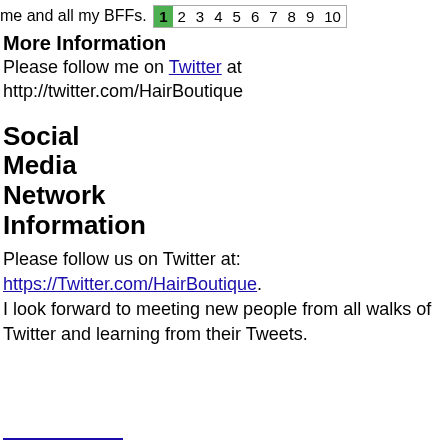me and all my BFFs. 1 2 3 4 5 6 7 8 9 10
More Information
Please follow me on Twitter at http://twitter.com/HairBoutique
Social Media Network Information
Please follow us on Twitter at: https://Twitter.com/HairBoutique. I look forward to meeting new people from all walks of Twitter and learning from their Tweets.